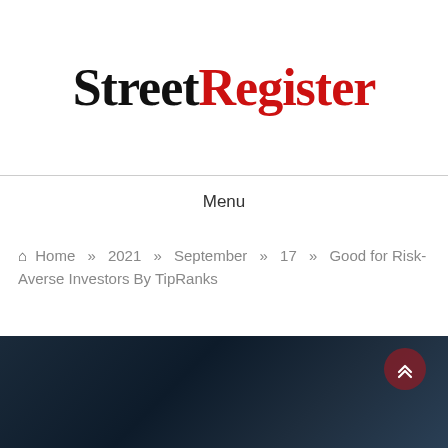[Figure (logo): StreetRegister logo — 'Street' in black bold serif, 'Register' in red bold serif]
Menu
🏠 Home » 2021 » September » 17 » Good for Risk-Averse Investors By TipRanks
[Figure (photo): Dark blue/navy background image, partially visible at bottom of page, with a dark red circular back-to-top button with chevron arrows in bottom right area]